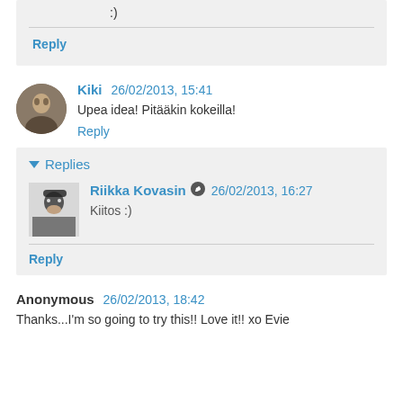:)
Reply
Kiki  26/02/2013, 15:41
Upea idea! Pitääkin kokeilla!
Reply
Replies
Riikka Kovasin  26/02/2013, 16:27
Kiitos :)
Reply
Anonymous  26/02/2013, 18:42
Thanks...I'm so going to try this!! Love it!! xo Evie